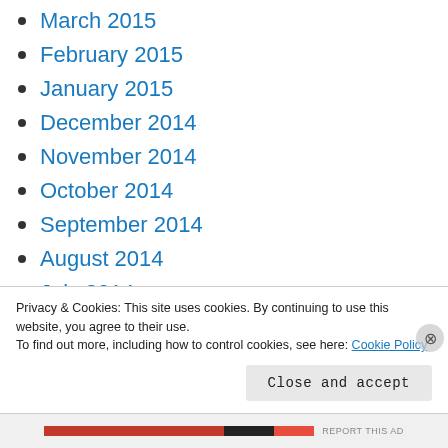March 2015
February 2015
January 2015
December 2014
November 2014
October 2014
September 2014
August 2014
July 2014
June 2014
May 2014
Privacy & Cookies: This site uses cookies. By continuing to use this website, you agree to their use. To find out more, including how to control cookies, see here: Cookie Policy
Close and accept